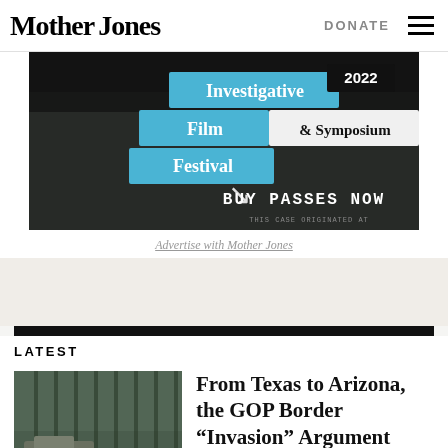Mother Jones
DONATE
[Figure (photo): Investigative Film Festival & Symposium 2022 — BUY PASSES NOW advertisement banner]
Advertise with Mother Jones
LATEST
[Figure (photo): Border wall photo with military vehicle]
From Texas to Arizona, the GOP Border “Invasion” Argument Keeps Getting